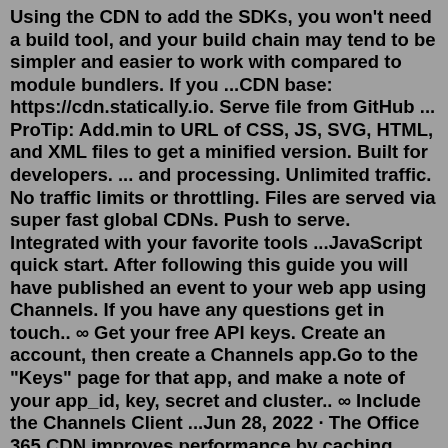Using the CDN to add the SDKs, you won't need a build tool, and your build chain may tend to be simpler and easier to work with compared to module bundlers. If you ...CDN base: https://cdn.statically.io. Serve file from GitHub ... ProTip: Add.min to URL of CSS, JS, SVG, HTML, and XML files to get a minified version. Built for developers. ... and processing. Unlimited traffic. No traffic limits or throttling. Files are served via super fast global CDNs. Push to serve. Integrated with your favorite tools ...JavaScript quick start. After following this guide you will have published an event to your web app using Channels. If you have any questions get in touch.. ∞ Get your free API keys. Create an account, then create a Channels app.Go to the "Keys" page for that app, and make a note of your app_id, key, secret and cluster.. ∞ Include the Channels Client ...Jun 28, 2022 · The Office 365 CDN improves performance by caching static assets closer to the browsers requesting them, which helps to speed up downloads and reduce